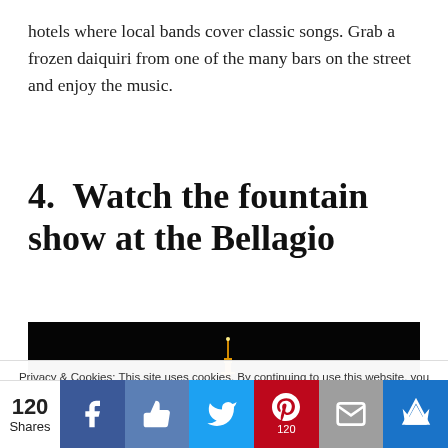hotels where local bands cover classic songs. Grab a frozen daiquiri from one of the many bars on the street and enjoy the music.
4.  Watch the fountain show at the Bellagio
[Figure (photo): Night-time photo of the Las Vegas Strip showing illuminated buildings including Planet Hollywood, taken from across the Bellagio fountains area. The scene is dark with bright orange and yellow lights on the hotel facades.]
Privacy & Cookies: This site uses cookies. By continuing to use this website, you agree to their use.
To find out more, including how to control cookies, see here: Cookie Policy